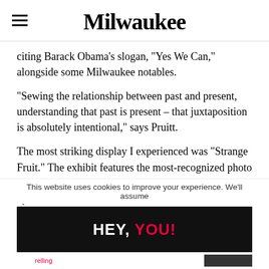Milwaukee
citing Barack Obama's slogan, "Yes We Can," alongside some Milwaukee notables.
“Sewing the relationship between past and present, understanding that past is present – that juxtaposition is absolutely intentional,” says Pruitt.
The most striking display I experienced was “Strange Fruit.” The exhibit features the most-recognized photo of a lynching and draws its name from a poem written by
Close
This website uses cookies to improve your experience. We'll assume
[Figure (other): Dark promotional banner with bold text reading HEY, YOU! in white and red uppercase letters on a black background]